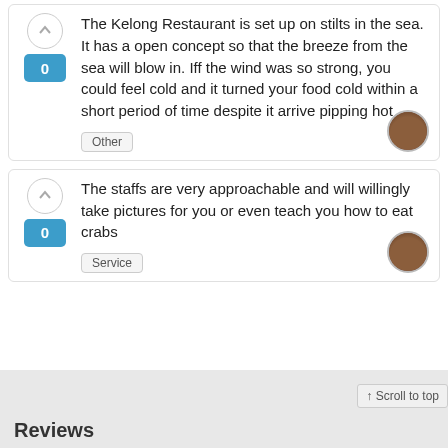The Kelong Restaurant is set up on stilts in the sea. It has a open concept so that the breeze from the sea will blow in. Iff the wind was so strong, you could feel cold and it turned your food cold within a short period of time despite it arrive pipping hot
Other
The staffs are very approachable and will willingly take pictures for you or even teach you how to eat crabs
Service
↑ Scroll to top
Reviews